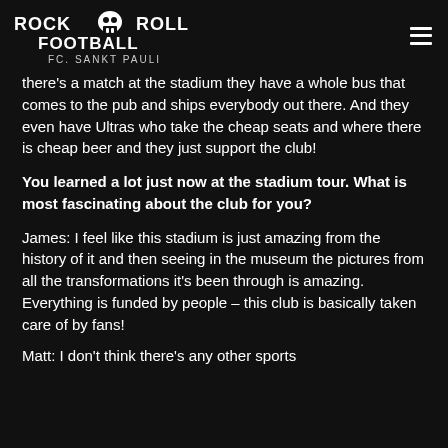ROCK AND ROLL FOOTBALL FC. SANKT PAULI
there's a match at the stadium they have a whole bus that comes to the pub and ships everybody out there. And they even have Ultras who take the cheap seats and where there is cheap beer and they just support the club!
You learned a lot just now at the stadium tour. What is most fascinating about the club for you?
James: I feel like this stadium is just amazing from the history of it and then seeing in the museum the pictures from all the transformations it's been through is amazing. Everything is funded by people – this club is basically taken care of by fans!
Matt: I don't think there's any other sports